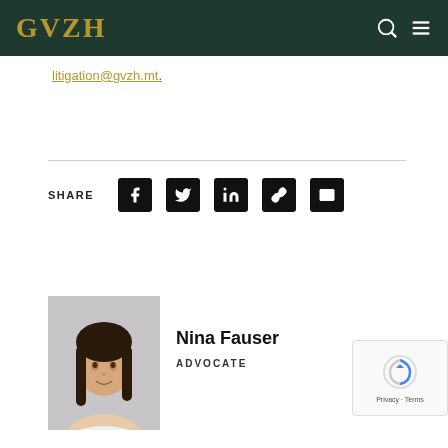GVZH
litigation@gvzh.mt.
SHARE
[Figure (other): Profile photo of Nina Fauser, a woman with long dark hair, smiling, wearing a white top, against a light grey background]
Nina Fauser
ADVOCATE